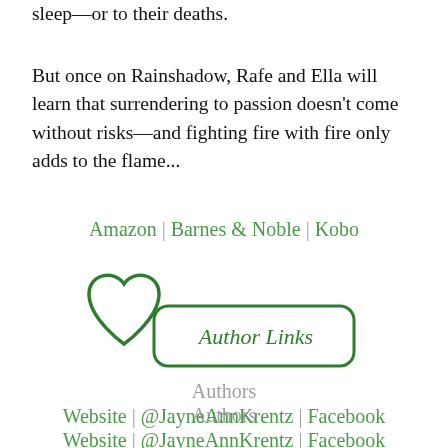sleep—or to their deaths.
But once on Rainshadow, Rafe and Ella will learn that surrendering to passion doesn't come without risks—and fighting fire with fire only adds to the flame...
Amazon | Barnes & Noble | Kobo
[Figure (illustration): Green heart outline overlapping a rounded rectangle badge with italic text 'Author Links' in green]
Authors
Website | @JayneAnnKrentz | Facebook
[Figure (illustration): Green heart outline overlapping a rounded rectangle badge, partially visible at bottom, similar to Author Links badge above]